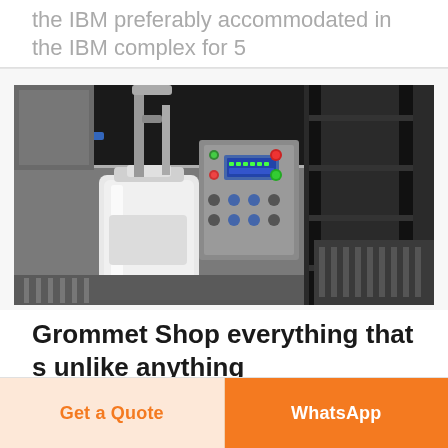the IBM preferably accommodated in the IBM complex for 5
[Figure (photo): Industrial liquid filling machine with a white jerry can/container being filled, stainless steel cabinet with control panel featuring buttons and digital display, roller conveyor in background]
Grommet Shop everything that s unlike anything
Get a Quote
WhatsApp